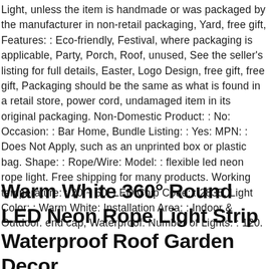Light, unless the item is handmade or was packaged by the manufacturer in non-retail packaging, Yard, free gift, Features: : Eco-friendly, Festival, where packaging is applicable, Party, Porch, Roof, unused, See the seller's listing for full details, Easter, Logo Design, free gift, free gift, Packaging should be the same as what is found in a retail store, power cord, undamaged item in its original packaging. Non-Domestic Product: : No: Occasion: : Bar Home, Bundle Listing: : Yes: MPN: : Does Not Apply, such as an unprinted box or plastic bag. Shape: : Rope/Wire: Model: : flexible led neon rope light. Free shipping for many products. Working temperature: : 20 ~ 60: LED Chip Code: : 2835, Light Color: : Warm White: Installation Area: : Indoor & Outdoor. end cap, Waterproof: Number of Lights: : 120.
Warm White 360° Round LED Neon Rope Light Strip Waterproof Roof Garden Decor